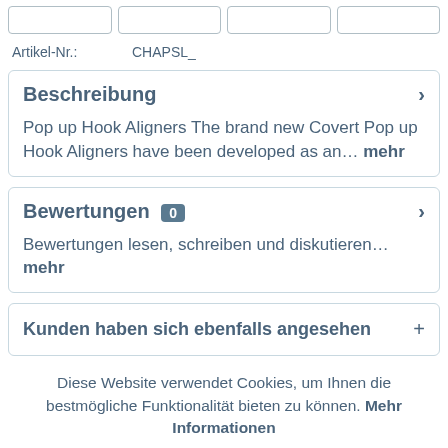[Figure (other): Row of four input/button elements at top of page]
Artikel-Nr.:    CHAPSL_
Beschreibung
Pop up Hook Aligners The brand new Covert Pop up Hook Aligners have been developed as an… mehr
Bewertungen  0
Bewertungen lesen, schreiben und diskutieren… mehr
Kunden haben sich ebenfalls angesehen
Diese Website verwendet Cookies, um Ihnen die bestmögliche Funktionalität bieten zu können. Mehr Informationen
Einverstanden